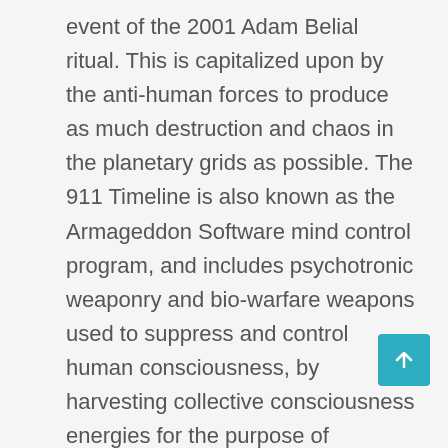event of the 2001 Adam Belial ritual. This is capitalized upon by the anti-human forces to produce as much destruction and chaos in the planetary grids as possible. The 911 Timeline is also known as the Armageddon Software mind control program, and includes psychotronic weaponry and bio-warfare weapons used to suppress and control human consciousness, by harvesting collective consciousness energies for the purpose of propagating artificially generated false timelines for the 3D reality. Thus, leading into the autumn planetary cycle, this phase is commonly harvested for a trigger event to catalyze some tragic event in the timeline to maximize human suffering through disasters, weather cataclysms, false flag events and other catastrophes. Unfortunately, this has been